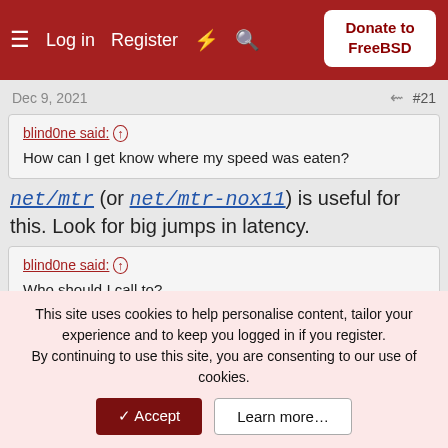Log in  Register  Donate to FreeBSD
Dec 9, 2021  #21
blind0ne said: ↑
How can I get know where my speed was eaten?
net/mtr (or net/mtr-nox11) is useful for this. Look for big jumps in latency.
blind0ne said: ↑
Who should I call to?
Your ISP.
This site uses cookies to help personalise content, tailor your experience and to keep you logged in if you register.
By continuing to use this site, you are consenting to our use of cookies.